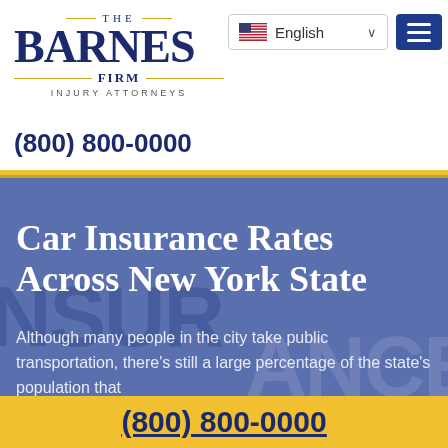[Figure (logo): The Barnes Firm Injury Attorneys logo with gold horizontal rules]
[Figure (screenshot): English language selector dropdown with US flag and chevron]
[Figure (other): Dark blue hamburger menu button with three white horizontal lines]
(800) 800-0000
Car Insurance Rates Across New York State
Although many people in the city take public transportation, there’s still a large percentage of the state’s population that
(800) 800-0000